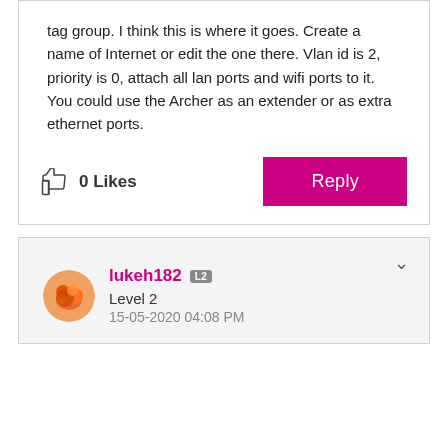tag group. I think this is where it goes. Create a name of Internet or edit the one there. Vlan id is 2, priority is 0, attach all lan ports and wifi ports to it.
You could use the Archer as an extender or as extra ethernet ports.
0 Likes
Reply
lukeh182 L2
Level 2
15-05-2020 04:08 PM